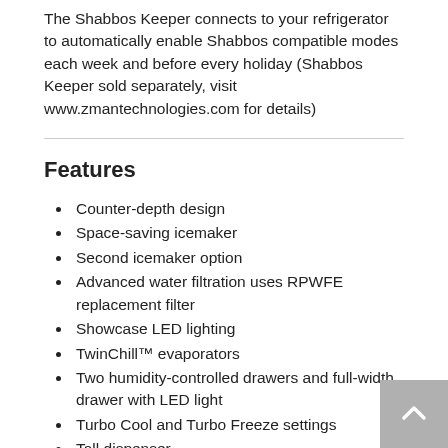The Shabbos Keeper connects to your refrigerator to automatically enable Shabbos compatible modes each week and before every holiday (Shabbos Keeper sold separately, visit www.zmantechnologies.com for details)
Features
Counter-depth design
Space-saving icemaker
Second icemaker option
Advanced water filtration uses RPWFE replacement filter
Showcase LED lighting
TwinChill™ evaporators
Two humidity-controlled drawers and full-width drawer with LED light
Turbo Cool and Turbo Freeze settings
Tall dispenser
Door alarm